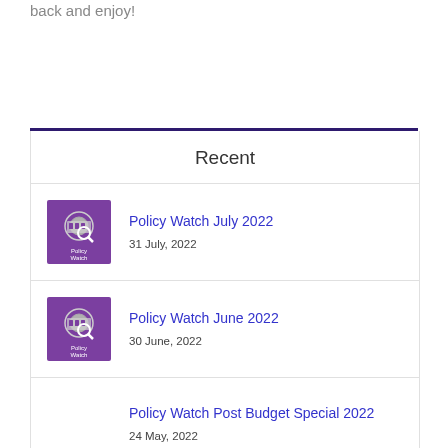back and enjoy!
Recent
Policy Watch July 2022 — 31 July, 2022
Policy Watch June 2022 — 30 June, 2022
Policy Watch Post Budget Special 2022 — 24 May, 2022